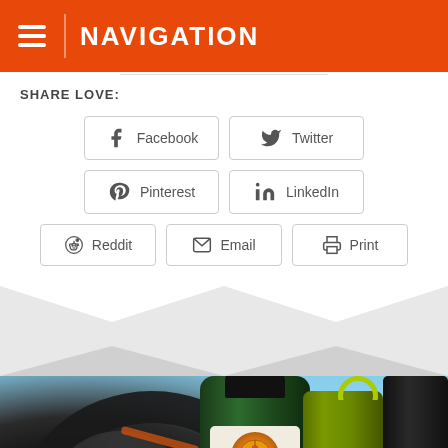NAVIGATION
SHARE LOVE:
Facebook
Twitter
Pinterest
LinkedIn
Reddit
Email
Print
[Figure (photo): Outdoor photo showing mountain bike tires and water bottles on rocky ground. A dark green Nalgene-style water bottle with a white label reading #iTriumph is in the foreground, alongside a yellow-green bottle and a dark bottle. A mountain bike wheel and tire are visible in the background.]